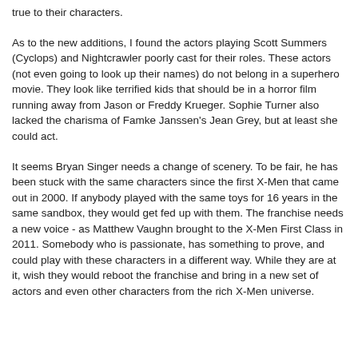true to their characters.
As to the new additions, I found the actors playing Scott Summers (Cyclops) and Nightcrawler poorly cast for their roles. These actors (not even going to look up their names) do not belong in a superhero movie. They look like terrified kids that should be in a horror film running away from Jason or Freddy Krueger. Sophie Turner also lacked the charisma of Famke Janssen's Jean Grey, but at least she could act.
It seems Bryan Singer needs a change of scenery. To be fair, he has been stuck with the same characters since the first X-Men that came out in 2000. If anybody played with the same toys for 16 years in the same sandbox, they would get fed up with them. The franchise needs a new voice - as Matthew Vaughn brought to the X-Men First Class in 2011. Somebody who is passionate, has something to prove, and could play with these characters in a different way. While they are at it, wish they would reboot the franchise and bring in a new set of actors and even other characters from the rich X-Men universe.